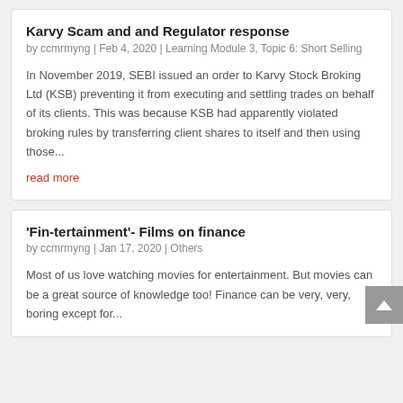Karvy Scam and and Regulator response
by ccmrmyng | Feb 4, 2020 | Learning Module 3, Topic 6: Short Selling
In November 2019, SEBI issued an order to Karvy Stock Broking Ltd (KSB) preventing it from executing and settling trades on behalf of its clients. This was because KSB had apparently violated broking rules by transferring client shares to itself and then using those...
read more
'Fin-tertainment'- Films on finance
by ccmrmyng | Jan 17, 2020 | Others
Most of us love watching movies for entertainment. But movies can be a great source of knowledge too! Finance can be very, very, boring except for...